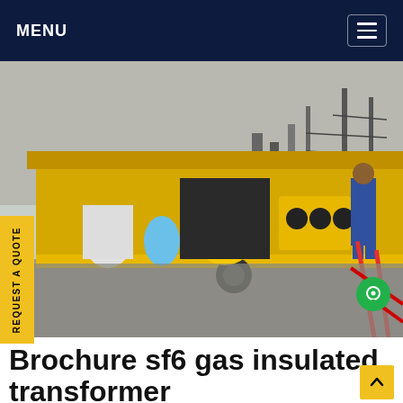MENU
[Figure (photo): Outdoor industrial scene at an electrical substation. A yellow service vehicle/trailer loaded with SF6 gas handling equipment is shown with two workers — one in a blue suit and one in a black jacket with a red hard hat. High-voltage transmission towers and power lines are visible in the background.]
REQUEST A QUOTE
Brochure sf6 gas insulated transformer